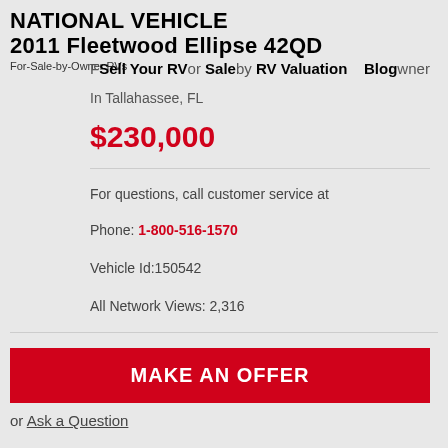NATIONAL VEHICLE
2011 Fleetwood Ellipse 42QD
For-Sale-by-Owner RVs
For Sale by Owner   RV Valuation   Blog
Sell Your RV
In Tallahassee, FL
$230,000
For questions, call customer service at
Phone: 1-800-516-1570
Vehicle Id:150542
All Network Views: 2,316
MAKE AN OFFER
or Ask a Question